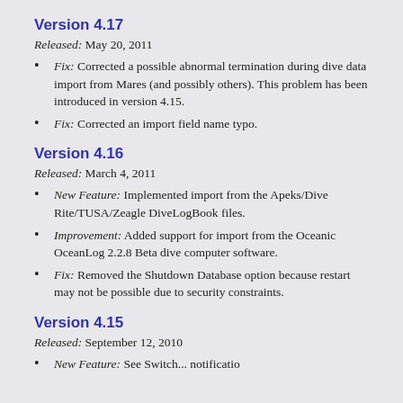Version 4.17
Released: May 20, 2011
Fix: Corrected a possible abnormal termination during dive data import from Mares (and possibly others). This problem has been introduced in version 4.15.
Fix: Corrected an import field name typo.
Version 4.16
Released: March 4, 2011
New Feature: Implemented import from the Apeks/Dive Rite/TUSA/Zeagle DiveLogBook files.
Improvement: Added support for import from the Oceanic OceanLog 2.2.8 Beta dive computer software.
Fix: Removed the Shutdown Database option because restart may not be possible due to security constraints.
Version 4.15
Released: September 12, 2010
New Feature: See Switch... notification